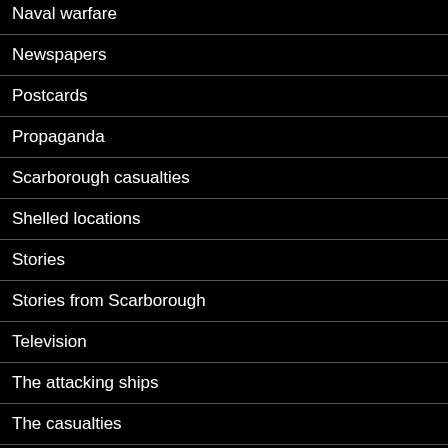Naval warfare
Newspapers
Postcards
Propaganda
Scarborough casualties
Shelled locations
Stories
Stories from Scarborough
Television
The attacking ships
The casualties
Video